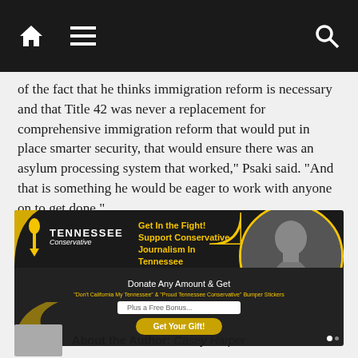[Figure (screenshot): Top navigation bar with home icon, hamburger menu icon, and search icon on black background]
of the fact that he thinks immigration reform is necessary and that Title 42 was never a replacement for comprehensive immigration reform that would put in place smarter security, that would ensure there was an asylum processing system that worked," Psaki said. "And that is something he would be eager to work with anyone on to get done."
[Figure (infographic): Tennessee Conservative advertisement banner: 'Get In the Fight! Support Conservative Journalism In Tennessee'. Donate Any Amount & Get Don't California My Tennessee & Proud Tennessee Conservative Bumper Stickers. Plus a Free Bonus... Get Your Gift! button. Features logo and black-and-white photo of a man.]
About the Author: Casey Harper